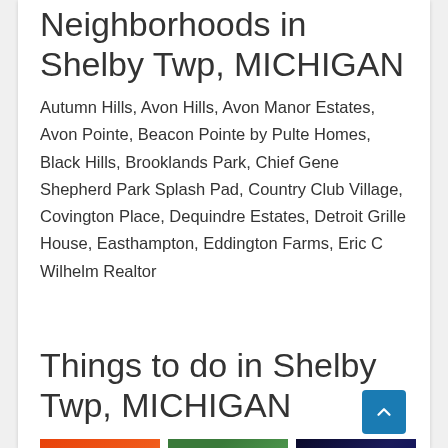Neighborhoods in Shelby Twp, MICHIGAN
Autumn Hills, Avon Hills, Avon Manor Estates, Avon Pointe, Beacon Pointe by Pulte Homes, Black Hills, Brooklands Park, Chief Gene Shepherd Park Splash Pad, Country Club Village, Covington Place, Dequindre Estates, Detroit Grille House, Easthampton, Eddington Farms, Eric C Wilhelm Realtor
Things to do in Shelby Twp, MICHIGAN
[Figure (photo): Airtime trampoline park orange logo thumbnail]
[Figure (photo): Park outdoor green nature thumbnail with text about park visit and peace of mind]
[Figure (photo): Neon lit entertainment venue thumbnail with colorful lighting]